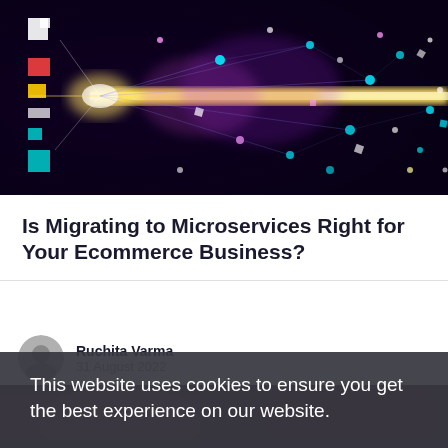[Figure (illustration): Abstract colorful network/particle explosion image with bright yellow horizontal beam, colorful glowing dots and geometric shapes on dark background, with a vertical logo bar on the left side]
Is Migrating to Microservices Right for Your Ecommerce Business?
Ruchita Varma
31 August 2022
This website uses cookies to ensure you get the best experience on our website.
Learn more
Got it!